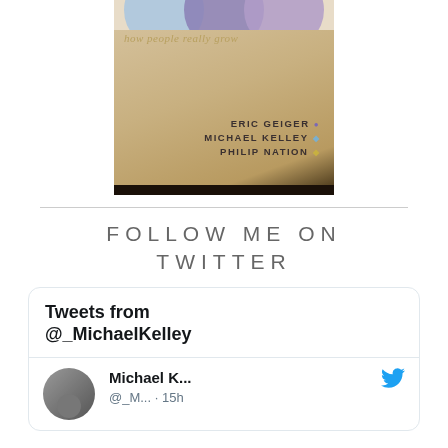[Figure (illustration): Book cover showing 'how people really grow' with authors Eric Geiger, Michael Kelley, and Philip Nation, with colored circles at top]
FOLLOW ME ON TWITTER
[Figure (screenshot): Twitter widget showing Tweets from @_MichaelKelley with a tweet by Michael K... (@_M... · 15h) and Twitter bird logo]